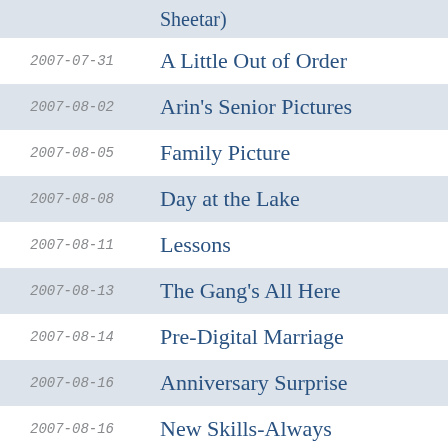Sheetar)
2007-07-31  A Little Out of Order
2007-08-02  Arin's Senior Pictures
2007-08-05  Family Picture
2007-08-08  Day at the Lake
2007-08-11  Lessons
2007-08-13  The Gang's All Here
2007-08-14  Pre-Digital Marriage
2007-08-16  Anniversary Surprise
2007-08-16  New Skills-Always
2007-08-18  More Park Pictures